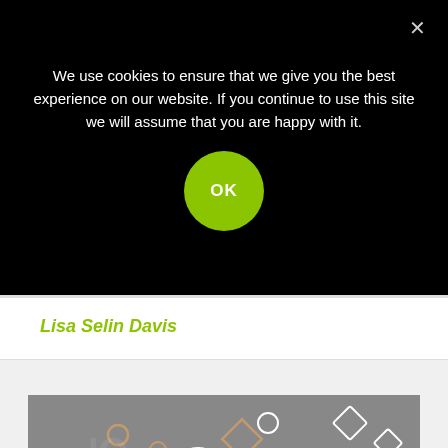We use cookies to ensure that we give you the best experience on our website. If you continue to use this site we will assume that you are happy with it.
OK
Lisa Selin Davis
[Figure (illustration): Abstract illustration showing geometric shapes, squiggles, and symbols floating above a stylized face/head with eyes, on a grey background, suggesting thoughts or ideas emerging from a mind.]